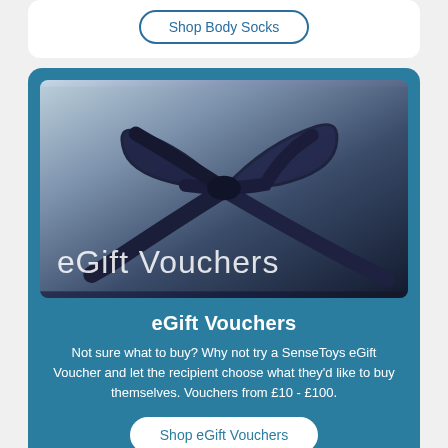Shop Body Socks
[Figure (photo): A close-up photo of a dark ribbon tied in a bow on a gift, with text overlay reading 'eGift Vouchers']
eGift Vouchers
Not sure what to buy? Why not try a SenseToys eGift Voucher and let the recipient choose what they'd like to buy themselves. Vouchers from £10 - £100.
Shop eGift Vouchers